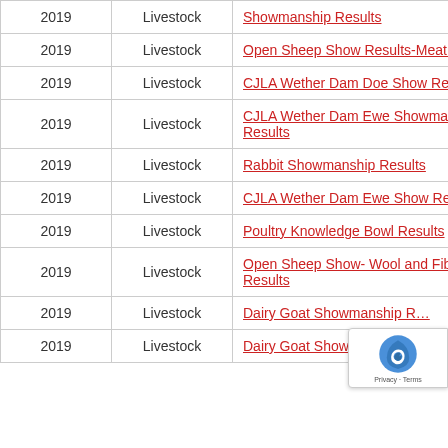| Year | Category | Link |
| --- | --- | --- |
| 2019 | Livestock | Showmanship Results |
| 2019 | Livestock | Open Sheep Show Results-Meat Breeds |
| 2019 | Livestock | CJLA Wether Dam Doe Show Results |
| 2019 | Livestock | CJLA Wether Dam Ewe Showmanship Results |
| 2019 | Livestock | Rabbit Showmanship Results |
| 2019 | Livestock | CJLA Wether Dam Ewe Show Results |
| 2019 | Livestock | Poultry Knowledge Bowl Results |
| 2019 | Livestock | Open Sheep Show- Wool and Fiber Results |
| 2019 | Livestock | Dairy Goat Showmanship Results |
| 2019 | Livestock | Dairy Goat Show Results |